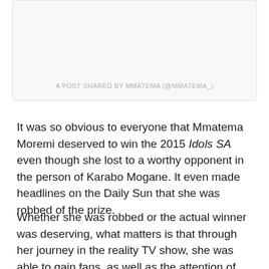A POST SHARED BY MMATEMA (@MMATEMA_)
It was so obvious to everyone that Mmatema Moremi deserved to win the 2015 Idols SA even though she lost to a worthy opponent in the person of Karabo Mogane. It even made headlines on the Daily Sun that she was robbed of the prize.
Whether she was robbed or the actual winner was deserving, what matters is that through her journey in the reality TV show, she was able to gain fans, as well as the attention of Universal Music South Africa who signed her on after the show – even though she did not stay long with them. She soon left the label